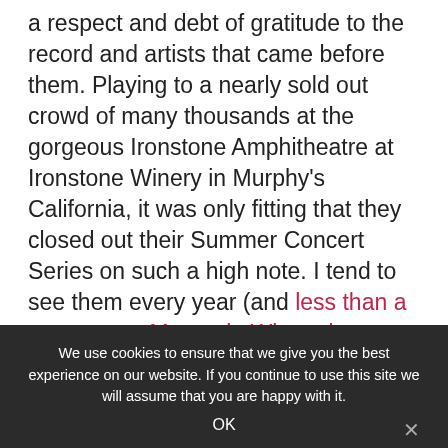a respect and debt of gratitude to the record and artists that came before them. Playing to a nearly sold out crowd of many thousands at the gorgeous Ironstone Amphitheatre at Ironstone Winery in Murphy's California, it was only fitting that they closed out their Summer Concert Series on such a high note. I tend to see them every year (and less than a year ago at Mountain Winery in Saratoga), and they remain one of my all-time favorite live acts. They are such a fantastic live band, their songs in concert tend to be even better and more full band of exceptionally talented musicians, they play so well together than little improvisational flourishes make it all fresh and immediate. As the most successful recording
We use cookies to ensure that we give you the best experience on our website. If you continue to use this site we will assume that you are happy with it.